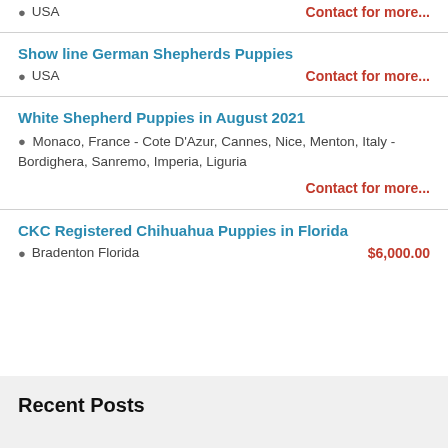USA  Contact for more...
Show line German Shepherds Puppies
USA  Contact for more...
White Shepherd Puppies in August 2021
Monaco, France - Cote D'Azur, Cannes, Nice, Menton, Italy - Bordighera, Sanremo, Imperia, Liguria
Contact for more...
CKC Registered Chihuahua Puppies in Florida
Bradenton Florida  $6,000.00
Recent Posts